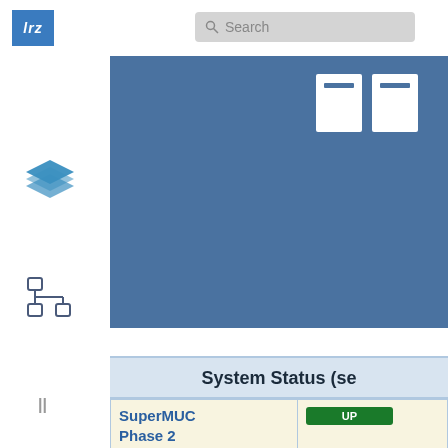[Figure (logo): LRZ logo - blue square with 'lrz' text in white italic]
[Figure (screenshot): Search bar with magnifying glass icon and placeholder text 'Search']
[Figure (illustration): Blue layers/stack icon in sidebar]
[Figure (illustration): Hierarchy/tree icon in sidebar]
[Figure (photo): Blue banner hero image with two white card icons in top right]
||
System Status (se
| System | Status |
| --- | --- |
| SuperMUC Phase 2
(available until end of 2019) | UP |
| login:
hw.supermuc.lrz.de | UP |
| File Systems:
HOME: | UP |